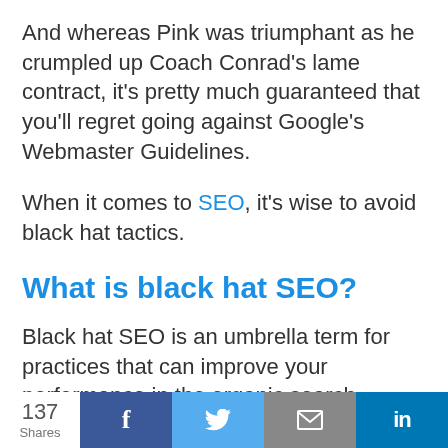And whereas Pink was triumphant as he crumpled up Coach Conrad's lame contract, it's pretty much guaranteed that you'll regret going against Google's Webmaster Guidelines.
When it comes to SEO, it's wise to avoid black hat tactics.
What is black hat SEO?
Black hat SEO is an umbrella term for practices that can improve your performance in the organic search results